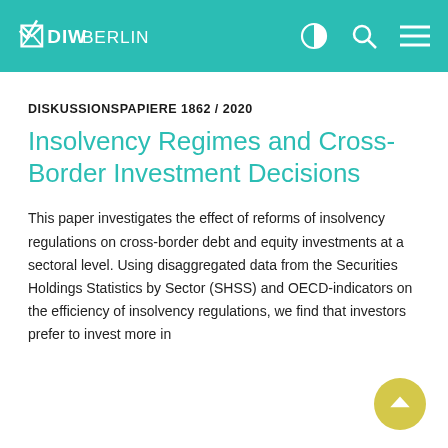DIW BERLIN
DISKUSSIONSPAPIERE 1862 / 2020
Insolvency Regimes and Cross-Border Investment Decisions
This paper investigates the effect of reforms of insolvency regulations on cross-border debt and equity investments at a sectoral level. Using disaggregated data from the Securities Holdings Statistics by Sector (SHSS) and OECD-indicators on the efficiency of insolvency regulations, we find that investors prefer to invest more in